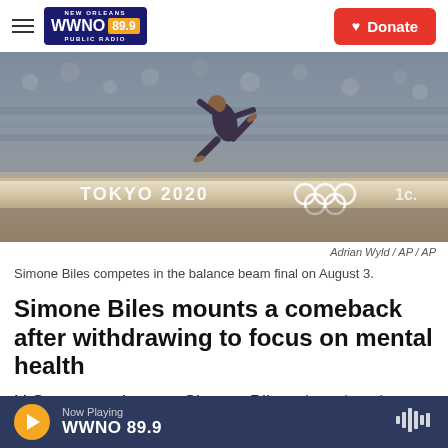NEW ORLEANS WWNO 89.9 PUBLIC RADIO | Donate
[Figure (photo): Simone Biles performing gymnastics on the balance beam at Tokyo 2020 Olympics, aerial view showing athlete mid-routine above the beam with Olympic rings visible]
Adrian Wyld / AP / AP
Simone Biles competes in the balance beam final on August 3.
Simone Biles mounts a comeback after withdrawing to focus on mental health
U.S. gymnastics star Simone Biles triumphantly
Now Playing WWNO 89.9